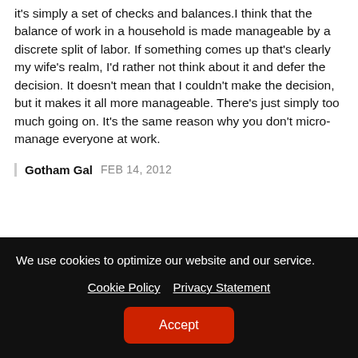it's simply a set of checks and balances.I think that the balance of work in a household is made manageable by a discrete split of labor. If something comes up that's clearly my wife's realm, I'd rather not think about it and defer the decision. It doesn't mean that I couldn't make the decision, but it makes it all more manageable. There's just simply too much going on. It's the same reason why you don't micro-manage everyone at work.
Gotham Gal  FEB 14, 2012
We use cookies to optimize our website and our service.
Cookie Policy   Privacy Statement
Accept